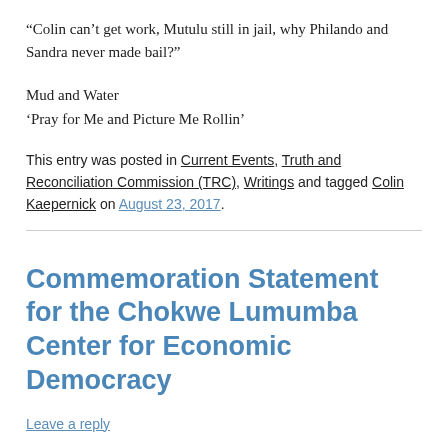“Colin can’t get work, Mutulu still in jail, why Philando and Sandra never made bail?”
Mud and Water
‘Pray for Me and Picture Me Rollin’
This entry was posted in Current Events, Truth and Reconciliation Commission (TRC), Writings and tagged Colin Kaepernick on August 23, 2017.
Commemoration Statement for the Chokwe Lumumba Center for Economic Democracy
Leave a reply